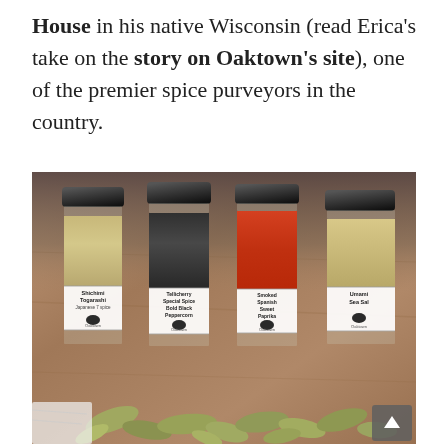House in his native Wisconsin (read Erica's take on the story on Oaktown's site), one of the premier spice purveyors in the country.
[Figure (photo): Four spice jars with black caps arranged on a wooden surface. Labels read: Shichimi Togarashi (Japanese 7 spice), Tellicherry Special Spice Bold Black Peppercorn, Smoked Spanish Sweet Paprika, and Umami Sea Salt. Bay leaves scattered in the foreground.]